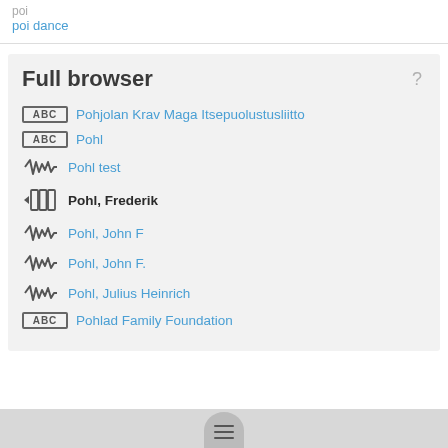poi dance
Full browser
Pohjolan Krav Maga Itsepuolustusliitto
Pohl
Pohl test
Pohl, Frederik
Pohl, John F
Pohl, John F.
Pohl, Julius Heinrich
Pohlad Family Foundation